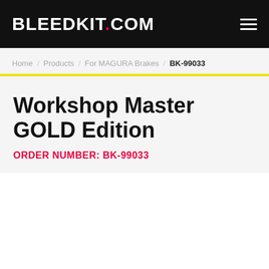BLEEDKIT.COM
Home / Products / For MAGURA Brakes / BK-99033
Workshop Master GOLD Edition
ORDER NUMBER: BK-99033